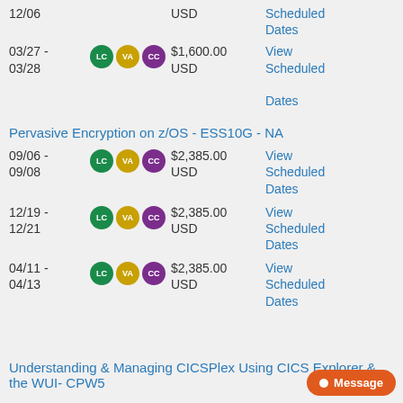12/06 — USD — View Scheduled Dates
03/27 - 03/28 — LC VA CC — $1,600.00 USD — View Scheduled Dates
Pervasive Encryption on z/OS - ESS10G - NA
09/06 - 09/08 — LC VA CC — $2,385.00 USD — View Scheduled Dates
12/19 - 12/21 — LC VA CC — $2,385.00 USD — View Scheduled Dates
04/11 - 04/13 — LC VA CC — $2,385.00 USD — View Scheduled Dates
Understanding & Managing CICSPlex Using CICS Explorer & the WUI- CPW5